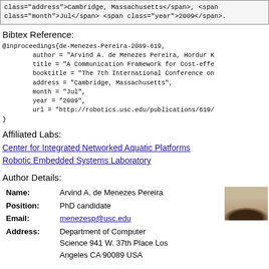class="address">Cambridge, Massachusetts</span>, <span
class="month">Jul</span> <span class="year">2009</span>.
Bibtex Reference:
@inproceedings{de-Menezes-Pereira-2009-619,
        author = "Arvind A. de Menezes Pereira, Hordur K
        title = "A Communication Framework for Cost-effe
        booktitle = "The 7th International Conference on
        address = "Cambridge, Massachusetts",
        month = "Jul",
        year = "2009",
        url = "http://robotics.usc.edu/publications/619/"
}
Affiliated Labs:
Center for Integrated Networked Aquatic Platforms
Robotic Embedded Systems Laboratory
Author Details:
| Field | Value |
| --- | --- |
| Name: | Arvind A. de Menezes Pereira |
| Position: | PhD candidate |
| Email: | menezesp@usc.edu |
| Address: | Department of Computer Science 941 W. 37th Place Los Angeles CA 90089 USA |
[Figure (photo): Author headshot photo thumbnail]